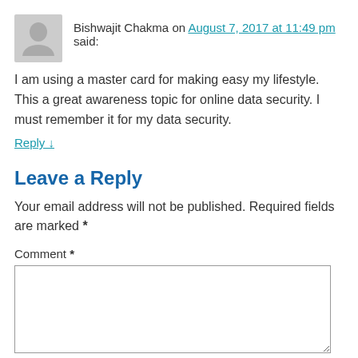Bishwajit Chakma on August 7, 2017 at 11:49 pm said:
I am using a master card for making easy my lifestyle. This a great awareness topic for online data security. I must remember it for my data security.
Reply ↓
Leave a Reply
Your email address will not be published. Required fields are marked *
Comment *